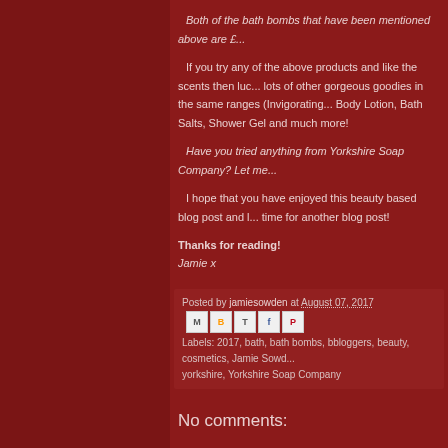Both of the bath bombs that have been mentioned above are £...
If you try any of the above products and like the scents then luc... lots of other gorgeous goodies in the same ranges (Invigorating... Body Lotion, Bath Salts, Shower Gel and much more!
Have you tried anything from Yorkshire Soap Company? Let me...
I hope that you have enjoyed this beauty based blog post and l... time for another blog post!
Thanks for reading!
Jamie x
Posted by jamiesowden at August 07, 2017
Labels: 2017, bath, bath bombs, bbloggers, beauty, cosmetics, Jamie Sowd... yorkshire, Yorkshire Soap Company
No comments: